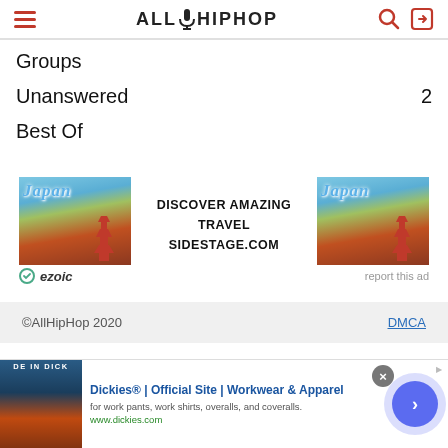AllHipHop
Groups
Unanswered  2
Best Of
[Figure (infographic): Japan travel advertisement banner with pagoda images and text: DISCOVER AMAZING TRAVEL SIDESTAGE.COM. Ezoic badge and 'report this ad' label below.]
©AllHipHop 2020   DMCA
[Figure (infographic): Dickies® | Official Site | Workwear & Apparel bottom ad bar with close button and arrow navigation.]